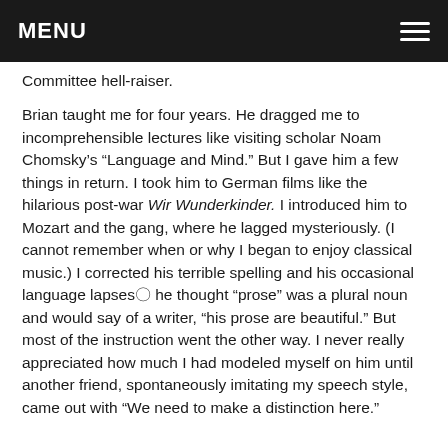MENU
Committee hell-raiser.
Brian taught me for four years. He dragged me to incomprehensible lectures like visiting scholar Noam Chomsky’s “Language and Mind.” But I gave him a few things in return. I took him to German films like the hilarious post-war Wir Wunderkinder. I introduced him to Mozart and the gang, where he lagged mysteriously. (I cannot remember when or why I began to enjoy classical music.) I corrected his terrible spelling and his occasional language lapses—he thought “prose” was a plural noun and would say of a writer, “his prose are beautiful.” But most of the instruction went the other way. I never really appreciated how much I had modeled myself on him until another friend, spontaneously imitating my speech style, came out with “We need to make a distinction here.”